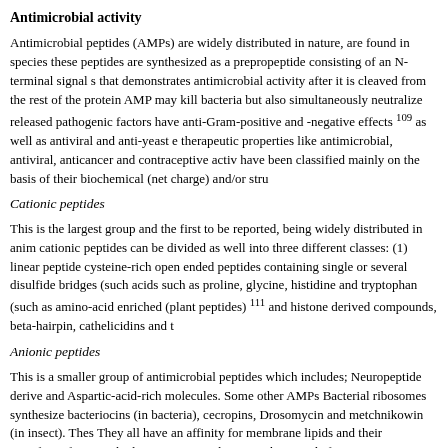Antimicrobial activity
Antimicrobial peptides (AMPs) are widely distributed in nature, are found in species these peptides are synthesized as a prepropeptide consisting of an N-terminal signal s that demonstrates antimicrobial activity after it is cleaved from the rest of the protein AMP may kill bacteria but also simultaneously neutralize released pathogenic factors have anti-Gram-positive and -negative effects 109 as well as antiviral and anti-yeast e therapeutic properties like antimicrobial, antiviral, anticancer and contraceptive activ have been classified mainly on the basis of their biochemical (net charge) and/or stru
Cationic peptides
This is the largest group and the first to be reported, being widely distributed in anim cationic peptides can be divided as well into three different classes: (1) linear peptide cysteine-rich open ended peptides containing single or several disulfide bridges (such acids such as proline, glycine, histidine and tryptophan (such as amino-acid enriched (plant peptides) 111 and histone derived compounds, beta-hairpin, cathelicidins and t
Anionic peptides
This is a smaller group of antimicrobial peptides which includes; Neuropeptide derive and Aspartic-acid-rich molecules. Some other AMPs Bacterial ribosomes synthesize bacteriocins (in bacteria), cecropins, Drosomycin and metchnikowin (in insect). Thes They all have an affinity for membrane lipids and their specificity for microbial mem positive charge on the peptide favouring interaction with the exposed anionic lipids o membrane allowing for leakage of ions and other materials from the cell. The activity barrel stave, toroidal along with these mechanisms, it shows an intracellular killing a 112